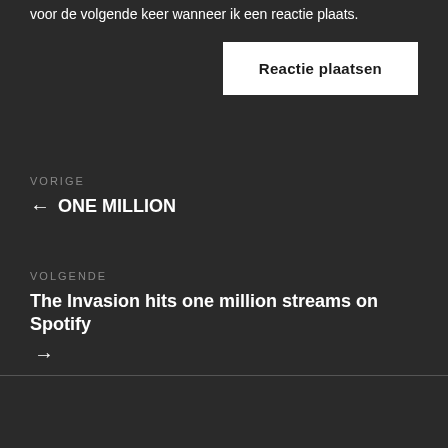voor de volgende keer wanneer ik een reactie plaats.
Reactie plaatsen
VORIGE
← ONE MILLION
VOLGENDE
The Invasion hits one million streams on Spotify →